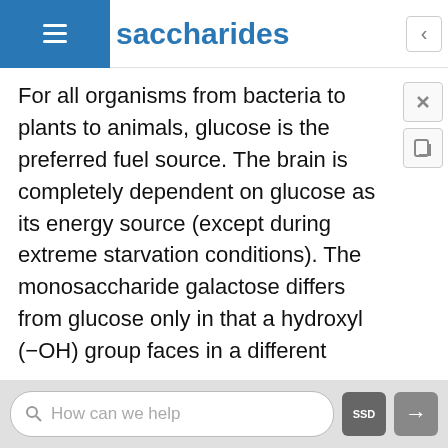saccharides
For all organisms from bacteria to plants to animals, glucose is the preferred fuel source. The brain is completely dependent on glucose as its energy source (except during extreme starvation conditions). The monosaccharide galactose differs from glucose only in that a hydroxyl (−OH) group faces in a different direction on the number four carbon (Figure 4.2.2). This small structural alteration causes galactose to be less stable than glucose. As a result, the liver rapidly converts it to glucose. Most absorbed galactose is utilized for energy production in cells after its conversion to glucose. (Galactose is one of two simple sugars that are bound together to make up the sugar
How can we help